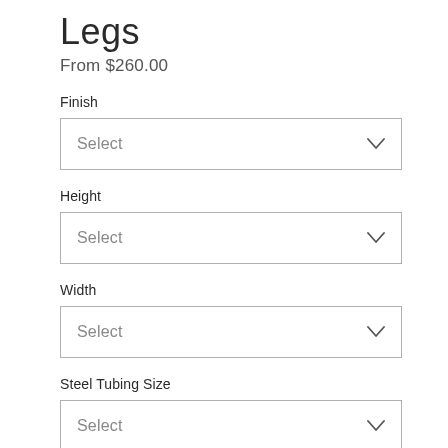Legs
From $260.00
Finish
Select
Height
Select
Width
Select
Steel Tubing Size
Select
Quantity